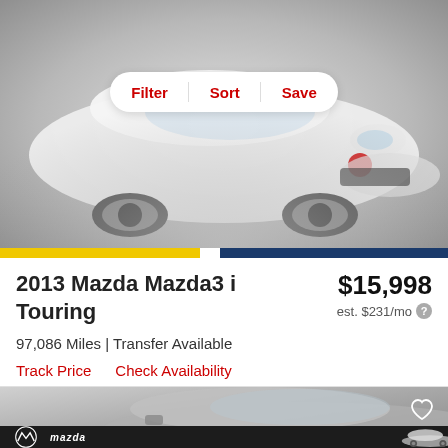[Figure (photo): Front view of a white 2013 Mazda Mazda3 i Touring on a light gray background, photographed in a studio setting]
[Figure (infographic): White rounded pill-shaped toolbar with three red text buttons: Filter, Sort, Save, separated by thin dividers]
2013 Mazda Mazda3 i Touring
$15,998
est. $231/mo
97,086 Miles | Transfer Available
Track Price   Check Availability
[Figure (photo): Partial side/front view of a silver Mazda vehicle on a light gray background with a heart/favorite icon in top right corner]
[Figure (advertisement): Mazda advertisement banner with Mazda logo on dark background and a white SUV (CX-5 or similar) on a road]